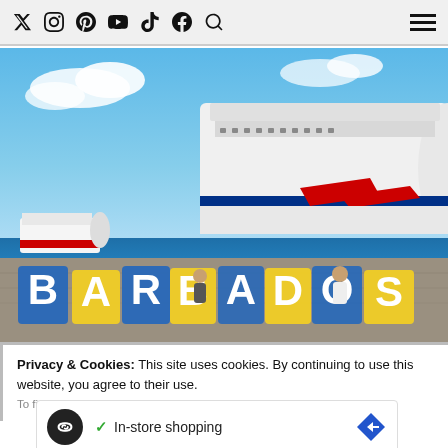Social media icons: Twitter, Instagram, Pinterest, YouTube, TikTok, Facebook, Search | Hamburger menu
[Figure (photo): A large cruise ship docked at port in Barbados, with large colorful BARBADOS letter sculptures in the foreground. Two people pose among the letters. Blue sky with clouds. Another cruise ship visible in the background on the left.]
Privacy & Cookies: This site uses cookies. By continuing to use this website, you agree to their use.
To find out more, including how to control cookies, see here: Cookie Policy
[Figure (infographic): Advertisement block: circular dark logo with infinity symbol, checkmark with 'In-store shopping' text, blue diamond-shaped arrow icon on right. Below: blue play icon and blue X icon.]